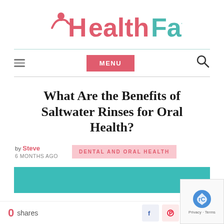[Figure (logo): HealthFavour website logo with a person icon, 'Health' in pink/red and 'Favour' in teal]
MENU
What Are the Benefits of Saltwater Rinses for Oral Health?
by Steve 6 MONTHS AGO
DENTAL AND ORAL HEALTH
[Figure (photo): Teal/turquoise colored image bar (partially visible)]
0 shares
[Figure (logo): reCAPTCHA logo with Privacy and Terms text]